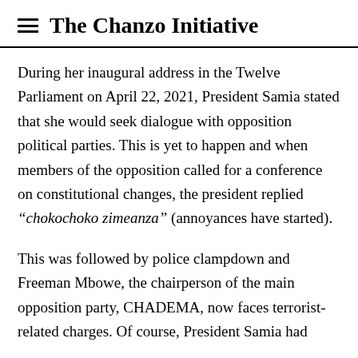The Chanzo Initiative
During her inaugural address in the Twelve Parliament on April 22, 2021, President Samia stated that she would seek dialogue with opposition political parties. This is yet to happen and when members of the opposition called for a conference on constitutional changes, the president replied “chokochoko zimeanza” (annoyances have started).
This was followed by police clampdown and Freeman Mbowe, the chairperson of the main opposition party, CHADEMA, now faces terrorist-related charges. Of course, President Samia had